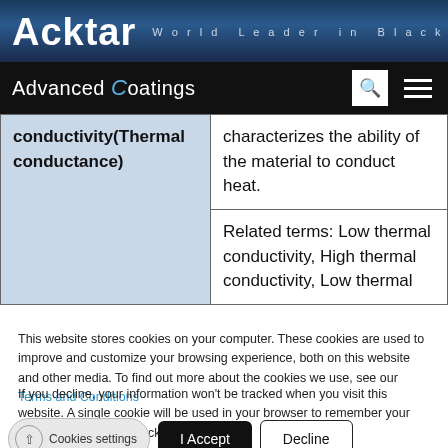Acktar — World Leader in Black Coatings
Advanced Coatings
| Term | Definition |
| --- | --- |
| conductivity(Thermal conductance) | characterizes the ability of the material to conduct heat. |
|  | Related terms: Low thermal conductivity, High thermal conductivity, Low thermal |
This website stores cookies on your computer. These cookies are used to improve and customize your browsing experience, both on this website and other media. To find out more about the cookies we use, see our Terms and Conditions
If you decline, your information won't be tracked when you visit this website. A single cookie will be used in your browser to remember your preference not to be tracked.